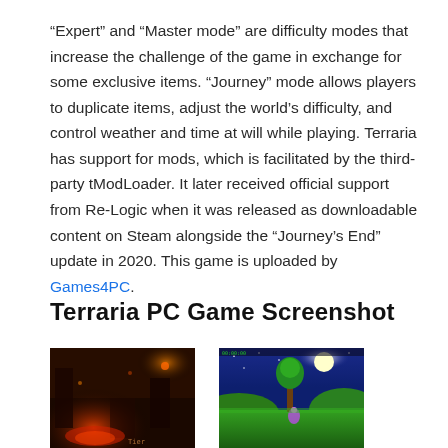“Expert” and “Master mode” are difficulty modes that increase the challenge of the game in exchange for some exclusive items. “Journey” mode allows players to duplicate items, adjust the world’s difficulty, and control weather and time at will while playing. Terraria has support for mods, which is facilitated by the third-party tModLoader. It later received official support from Re-Logic when it was released as downloadable content on Steam alongside the “Journey’s End” update in 2020. This game is uploaded by Games4PC.
Terraria PC Game Screenshot
[Figure (screenshot): Terraria dark underground scene with glowing red light at the bottom and orange glow at top right]
[Figure (screenshot): Terraria night outdoor scene with full moon, green hills, and a tree]